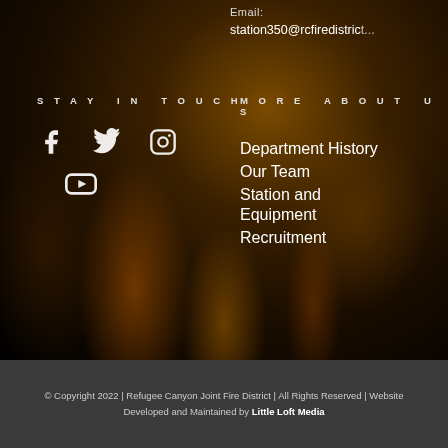Email: station350@rcfiredistrict...
STAY IN TOUCH
[Figure (infographic): Social media icons: Facebook, Twitter, Instagram, YouTube]
MORE ABOUT US
Department History
Our Team
Station and Equipment
Recruitment
© Copyright 2022 | Refugee Canyon Joint Fire District | All Rights Reserved | Website Developed and Maintained by Little Loft Media